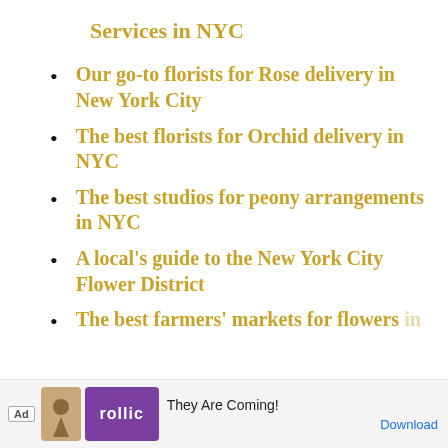Services in NYC
Our go-to florists for Rose delivery in New York City
The best florists for Orchid delivery in NYC
The best studios for peony arrangements in NYC
A local's guide to the New York City Flower District
The best farmers' markets for flowers in…
[Figure (screenshot): Advertisement bar at the bottom showing 'Ad' label, a brown icon, a purple 'rollic' logo, text 'They Are Coming!' and a 'Download' link in blue.]